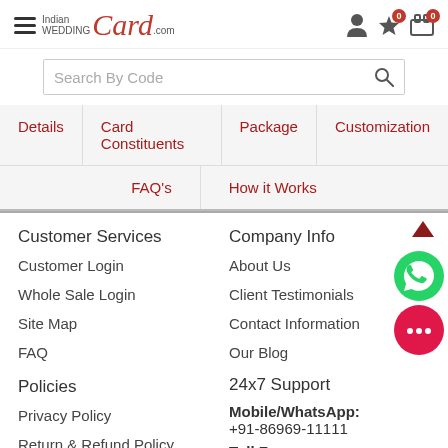[Figure (logo): Indian Wedding Card .com logo with hamburger menu and header icons]
Search By Code
Details | Card Constituents | Package | Customization | FAQ's | How it Works
Customer Services
Customer Login
Whole Sale Login
Site Map
FAQ
Policies
Privacy Policy
Return & Refund Policy
Company Info
About Us
Client Testimonials
Contact Information
Our Blog
24x7 Support
Mobile/WhatsApp: +91-86969-11111
Toll Free: